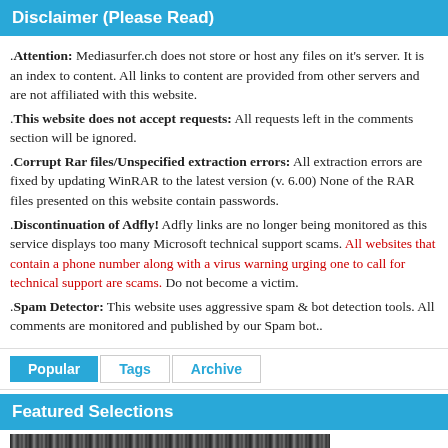Disclaimer (Please Read)
. Attention: Mediasurfer.ch does not store or host any files on it's server. It is an index to content. All links to content are provided from other servers and are not affiliated with this website.
. This website does not accept requests: All requests left in the comments section will be ignored.
. Corrupt Rar files/Unspecified extraction errors: All extraction errors are fixed by updating WinRAR to the latest version (v. 6.00) None of the RAR files presented on this website contain passwords.
. Discontinuation of Adfly! Adfly links are no longer being monitored as this service displays too many Microsoft technical support scams. All websites that contain a phone number along with a virus warning urging one to call for technical support are scams. Do not become a victim.
. Spam Detector: This website uses aggressive spam & bot detection tools. All comments are monitored and published by our Spam bot..
Popular
Tags
Archive
Featured Selections
[Figure (photo): Dark grainy photograph strip at the bottom of the page]